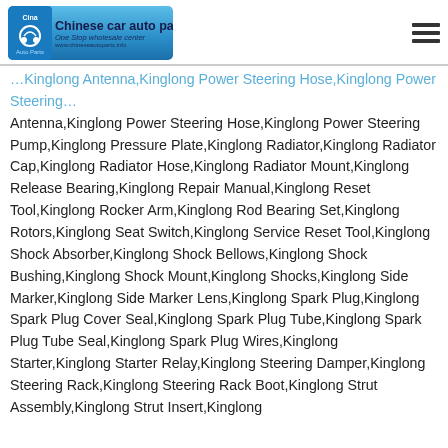[Figure (logo): Chinese car auto parts logo - One Stop wholesale center]
Antenna,Kinglong Power Steering Hose,Kinglong Power Steering Pump,Kinglong Pressure Plate,Kinglong Radiator,Kinglong Radiator Cap,Kinglong Radiator Hose,Kinglong Radiator Mount,Kinglong Release Bearing,Kinglong Repair Manual,Kinglong Reset Tool,Kinglong Rocker Arm,Kinglong Rod Bearing Set,Kinglong Rotors,Kinglong Seat Switch,Kinglong Service Reset Tool,Kinglong Shock Absorber,Kinglong Shock Bellows,Kinglong Shock Bushing,Kinglong Shock Mount,Kinglong Shocks,Kinglong Side Marker,Kinglong Side Marker Lens,Kinglong Spark Plug,Kinglong Spark Plug Cover Seal,Kinglong Spark Plug Tube,Kinglong Spark Plug Tube Seal,Kinglong Spark Plug Wires,Kinglong Starter,Kinglong Starter Relay,Kinglong Steering Damper,Kinglong Steering Rack,Kinglong Steering Rack Boot,Kinglong Strut Assembly,Kinglong Strut Insert,Kinglong